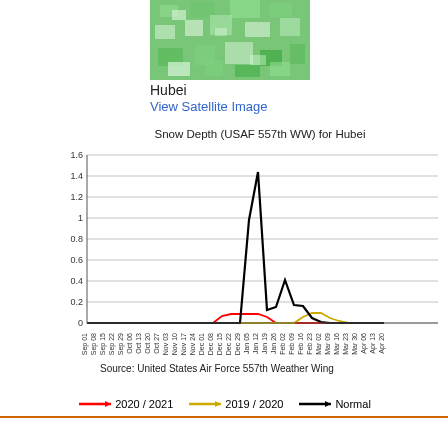[Figure (map): Satellite/map image of Hubei region showing green terrain]
Hubei
View Satellite Image
[Figure (line-chart): Snow Depth (USAF 557th WW) for Hubei]
Source: United States Air Force 557th Weather Wing